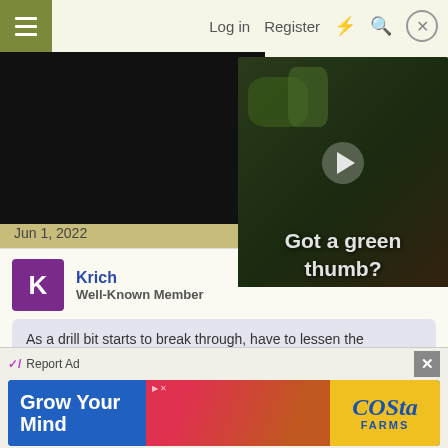Log in  Register
[Figure (screenshot): Video player showing black screen on left and 'Got a green thumb?' plant video thumbnail on right with play button, bobyilla branding]
Jun 1, 2022
Krich
Well-Known Member
As a drill bit starts to break through, have to lessen the pressure on it and once again finish SLOWLY...
Sometimes finishing slowly will not get the bit to finally drill thru... so, sometimes the drill needs to be secured
[Figure (infographic): Advertisement banner: Grow Your Mind - Costa Farms]